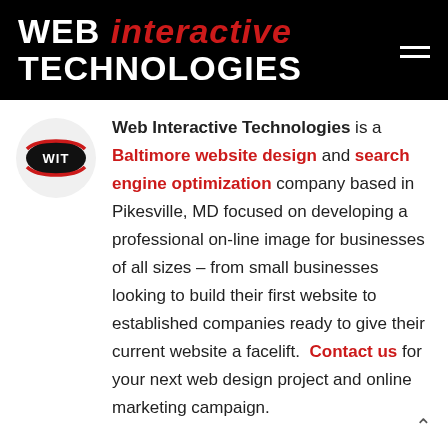WEB interactive TECHNOLOGIES
[Figure (logo): WIT logo — oval red and black badge with white 'WIT' lettering, inside a light gray circle]
Web Interactive Technologies is a Baltimore website design and search engine optimization company based in Pikesville, MD focused on developing a professional on-line image for businesses of all sizes – from small businesses looking to build their first website to established companies ready to give their current website a facelift. Contact us for your next web design project and online marketing campaign.